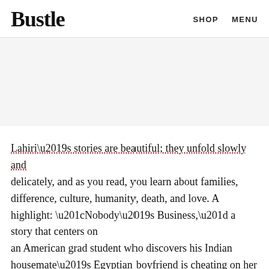Bustle  SHOP  MENU
[Figure (other): Advertisement banner area, light gray background]
Lahiri’s stories are beautiful; they unfold slowly and delicately, and as you read, you learn about families, difference, culture, humanity, death, and love. A highlight: “Nobody’s Business,” a story that centers on an American grad student who discovers his Indian housemate’s Egyptian boyfriend is cheating on her for a while. You become conflicted between what should